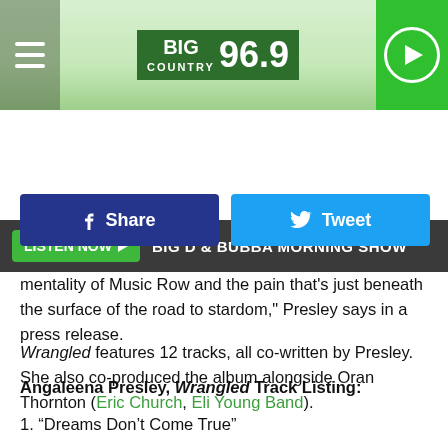BIG COUNTRY 96.9
LISTEN NOW  BIG D & BUBBA MORNING SHOW
Share  Tweet
mentality of Music Row and the pain that’s just beneath the surface of the road to stardom,” Presley says in a press release.

Wrangled features 12 tracks, all co-written by Presley. She also co-produced the album alongside Oran Thornton (Eric Church, Eli Young Band).
Angaleena Presley, Wrangled Track Listing:
1.  “Dreams Don’t Come True”